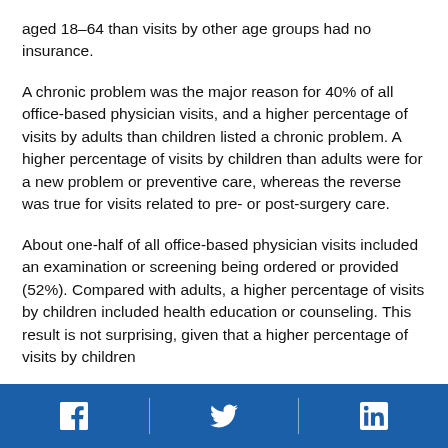aged 18–64 than visits by other age groups had no insurance.
A chronic problem was the major reason for 40% of all office-based physician visits, and a higher percentage of visits by adults than children listed a chronic problem. A higher percentage of visits by children than adults were for a new problem or preventive care, whereas the reverse was true for visits related to pre- or post-surgery care.
About one-half of all office-based physician visits included an examination or screening being ordered or provided (52%). Compared with adults, a higher percentage of visits by children included health education or counseling. This result is not surprising, given that a higher percentage of visits by children...
Facebook | Twitter | LinkedIn